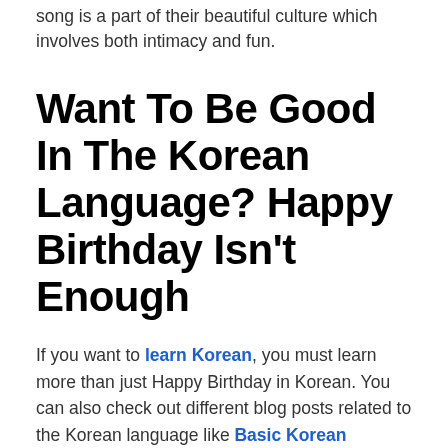song is a part of their beautiful culture which involves both intimacy and fun.
Want To Be Good In The Korean Language? Happy Birthday Isn't Enough
If you want to learn Korean, you must learn more than just Happy Birthday in Korean. You can also check out different blog posts related to the Korean language like Basic Korean Phrases, Greetings in Korean, and even Romantic words and phrases. But because you have reached this far on how to say Happy Birthday in Korean, we will treat you even if it is not your birthday yet. Go to Ling App and start learning Korean now for